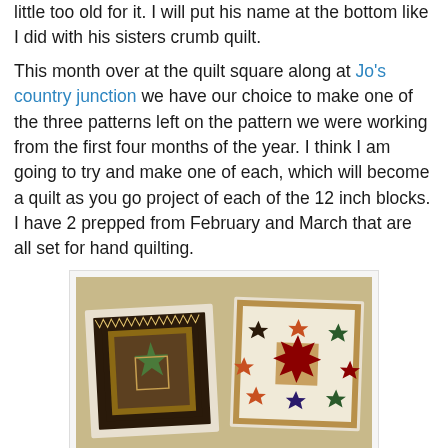little too old for it. I will put his name at the bottom like I did with his sisters crumb quilt.
This month over at the quilt square along at Jo's country junction we have our choice to make one of the three patterns left on the pattern we were working from the first four months of the year. I think I am going to try and make one of each, which will become a quilt as you go project of each of the 12 inch blocks. I have 2 prepped from February and March that are all set for hand quilting.
[Figure (photo): Two small decorative quilt blocks laid on a tan/beige cloth surface. The left block is darker with a star/floral pattern and dark borders. The right block is lighter with a colorful eight-pointed star pattern surrounded by smaller star blocks.]
I am thinking I will do one each week for the Saturday neutral